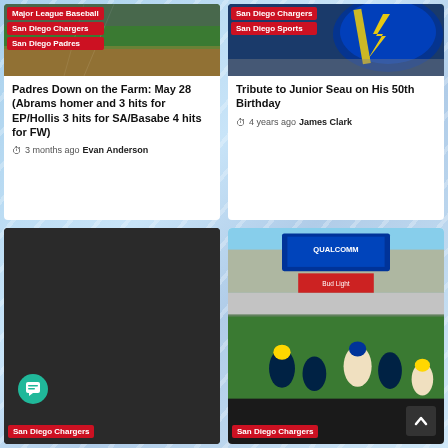[Figure (photo): Top-left card: Baseball field photo with red tags for Major League Baseball, San Diego Chargers, San Diego Padres. Article title: Padres Down on the Farm: May 28 (Abrams homer and 3 hits for EP/Hollis 3 hits for SA/Basabe 4 hits for FW). By Evan Anderson, 3 months ago.]
[Figure (photo): Top-right card: San Diego Chargers helmet photo with red tags for San Diego Chargers and San Diego Sports. Article title: Tribute to Junior Seau on His 50th Birthday. By James Clark, 4 years ago.]
[Figure (photo): Bottom-left card: Dark/black image with green chat button icon. Red tag at bottom for San Diego Chargers.]
[Figure (photo): Bottom-right card: Qualcomm Stadium football game photo with players on field. Red tag at bottom for San Diego Chargers. Scroll-to-top arrow button in bottom right.]